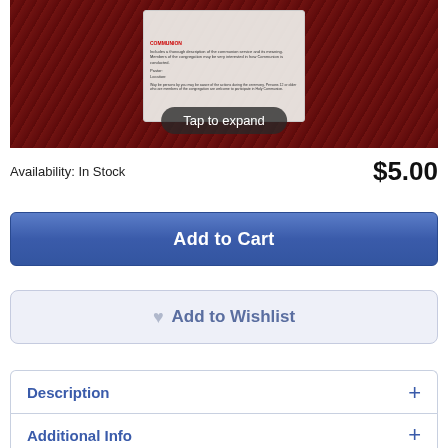[Figure (photo): Product photo showing a communion-related card or kit in a clear plastic case on a dark wood surface, with a 'Tap to expand' overlay button]
Availability: In Stock
$5.00
Add to Cart
Add to Wishlist
Description
Additional Info